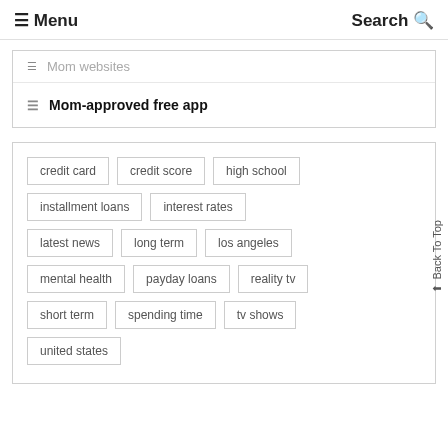☰ Menu    Search 🔍
☰  Mom websites
☰  Mom-approved free app
credit card
credit score
high school
installment loans
interest rates
latest news
long term
los angeles
mental health
payday loans
reality tv
short term
spending time
tv shows
united states